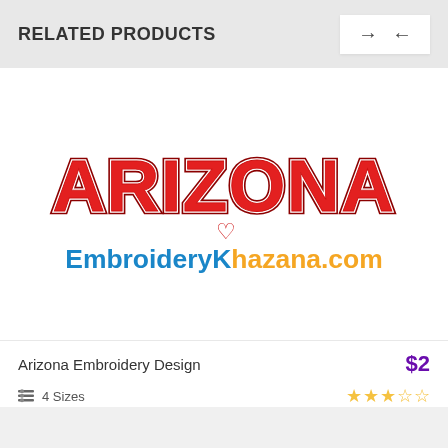RELATED PRODUCTS
[Figure (logo): Arizona Embroidery Design product image showing 'ARIZONA' in red collegiate letters with a red heart below, and 'EmbroideryKhazana.com' in blue and orange text underneath]
Arizona Embroidery Design    $2
4 Sizes   ★★★☆☆